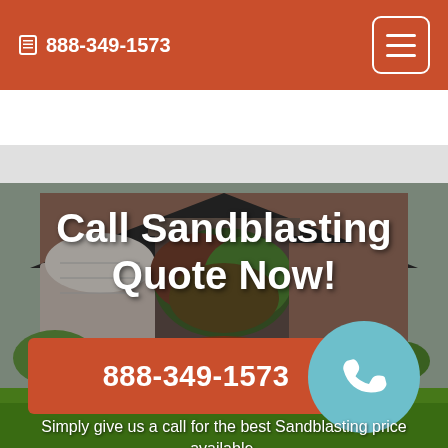📱 888-349-1573
[Figure (screenshot): Hamburger menu button icon in top right of header]
[Figure (photo): Background photo of a brick house with landscaping, green lawn, and shrubs]
Call Sandblasting Quote Now!
888-349-1573
Simply give us a call for the best Sandblasting price available.